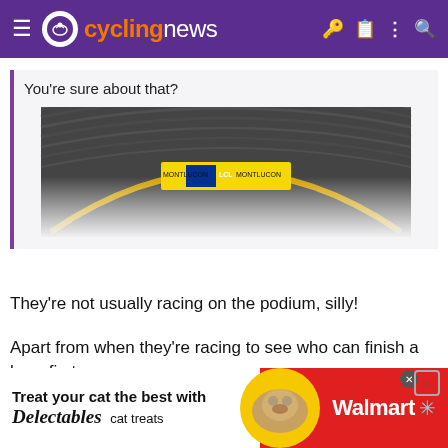cyclingnews
You're sure about that?
[Figure (photo): A cycling velodrome track photographed from below the banking, showing an arched wooden track surface with a yellow line, and a UCI/Tour de France banner visible in the background. Image is partially faded with a 'Click to expand...' overlay in orange.]
They're not usually racing on the podium, silly!
Apart from when they're racing to see who can finish a beer first.
Sandisfan
[Figure (other): Advertisement banner: 'Treat your cat the best with Delectables cat treats' on white background with gold circle containing a cat photo, and Walmart branding on red background.]